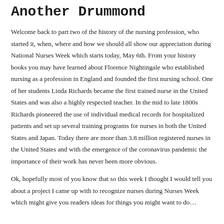Another Drummond
Welcome back to part two of the history of the nursing profession, who started it, when, where and how we should all show our appreciation during National Nurses Week which starts today, May 6th. From your history books you may have learned about Florence Nightingale who established nursing as a profession in England and founded the first nursing school. One of her students Linda Richards became the first trained nurse in the United States and was also a highly respected teacher. In the mid to late 1800s Richards pioneered the use of individual medical records for hospitalized patients and set up several training programs for nurses in both the United States and Japan. Today there are more than 3.8 million registered nurses in the United States and with the emergence of the coronavirus pandemic the importance of their work has never been more obvious.
Ok, hopefully most of you know that so this week I thought I would tell you about a project I came up with to recognize nurses during Nurses Week which might give you readers ideas for things you might want to do. Little next to continuation about Footprint in the D...